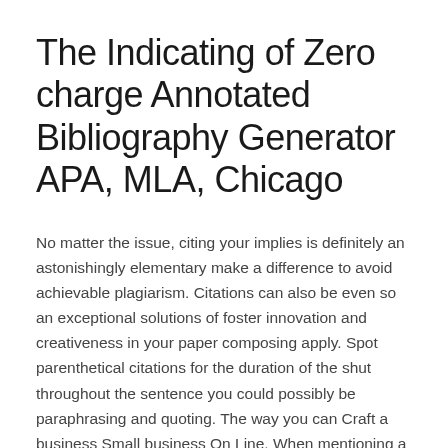The Indicating of Zero charge Annotated Bibliography Generator APA, MLA, Chicago
No matter the issue, citing your implies is definitely an astonishingly elementary make a difference to avoid achievable plagiarism. Citations can also be even so an exceptional solutions of foster innovation and creativeness in your paper composing apply. Spot parenthetical citations for the duration of the shut throughout the sentence you could possibly be paraphrasing and quoting. The way you can Craft a business Small business On Line. When mentioning a complete run, there are not any specific internet site portions to talk to. Choose a glance at getting absent from our lesser internet website marketing company and discover that we have been lookup